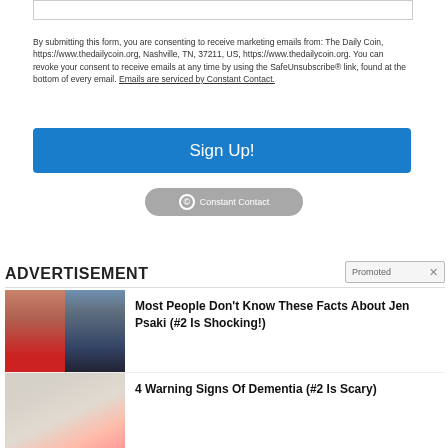[input box]
By submitting this form, you are consenting to receive marketing emails from: The Daily Coin, https://www.thedailycoin.org, Nashville, TN, 37211, US, https://www.thedailycoin.org. You can revoke your consent to receive emails at any time by using the SafeUnsubscribe® link, found at the bottom of every email. Emails are serviced by Constant Contact.
Sign Up!
[Figure (logo): Constant Contact badge/logo button]
ADVERTISEMENT
Promoted  ×
[Figure (photo): Photo of Jen Psaki and Donald Trump side by side]
Most People Don't Know These Facts About Jen Psaki (#2 Is Shocking!)
[Figure (photo): Photo of a hand with red/inflamed palm area]
4 Warning Signs Of Dementia (#2 Is Scary)